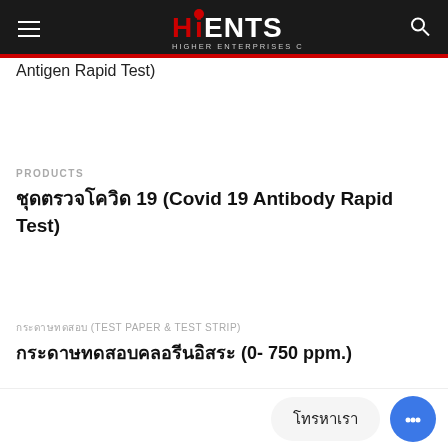HiENTS - Higher Enterprises Co.,Ltd.
Antigen Rapid Test)
PRODUCTS
ชุดตรวจโควิด 19 (Covid 19 Antibody Rapid Test)
กระดาษทดสอบ (TEST PAPER & TEST STRIP)
กระดาษทดสอบคลอรีนอิสระ (0- 750 ppm.)
โทรหาเรา